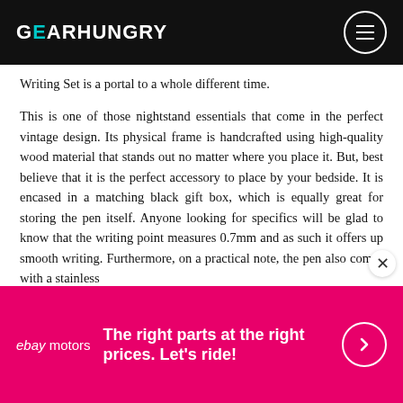GEARHUNGRY
Writing Set is a portal to a whole different time.
This is one of those nightstand essentials that come in the perfect vintage design. Its physical frame is handcrafted using high-quality wood material that stands out no matter where you place it. But, best believe that it is the perfect accessory to place by your bedside. It is encased in a matching black gift box, which is equally great for storing the pen itself. Anyone looking for specifics will be glad to know that the writing point measures 0.7mm and as such it offers up smooth writing. Furthermore, on a practical note, the pen also comes with a stainless
[Figure (other): eBay Motors advertisement banner with magenta background. Text reads: 'The right parts at the right prices. Let's ride!' with eBay Motors logo and arrow button.]